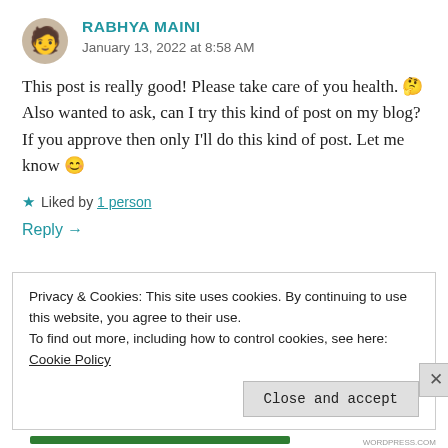RABHYA MAINI
January 13, 2022 at 8:58 AM
This post is really good! Please take care of you health. 🤔 Also wanted to ask, can I try this kind of post on my blog? If you approve then only I'll do this kind of post. Let me know 😊
★ Liked by 1 person
Reply →
Privacy & Cookies: This site uses cookies. By continuing to use this website, you agree to their use.
To find out more, including how to control cookies, see here: Cookie Policy
Close and accept